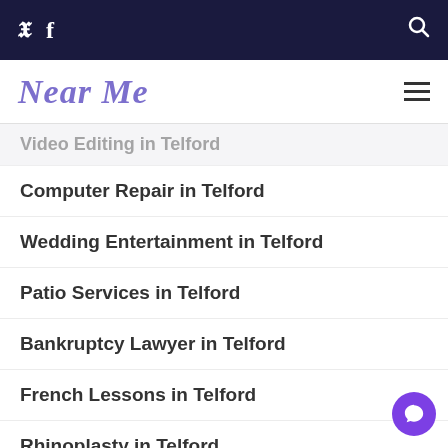Twitter Facebook Search
Near Me
Video Editing in Telford
Computer Repair in Telford
Wedding Entertainment in Telford
Patio Services in Telford
Bankruptcy Lawyer in Telford
French Lessons in Telford
Rhinoplasty in Telford
Presentation Design in Telford